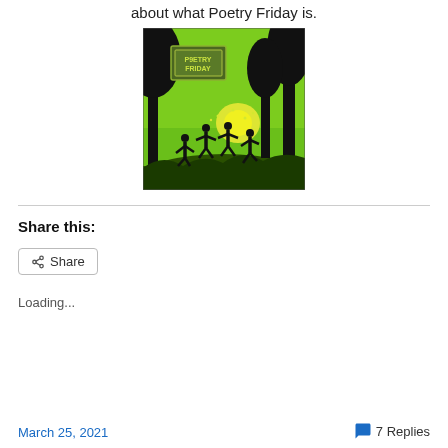about what Poetry Friday is.
[Figure (illustration): Green illustrated image with silhouettes of children playing outdoors among trees, with a bright yellow sun. A sign in the upper left reads 'POETRY FRIDAY'.]
Share this:
Share
Loading...
March 25, 2021
7 Replies